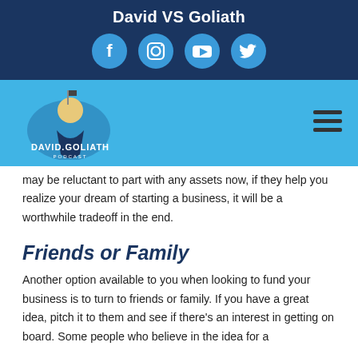David VS Goliath
[Figure (infographic): Social media icons: Facebook, Instagram, YouTube, Twitter in circular blue buttons]
[Figure (logo): David VS Goliath Podcast logo with cartoon character on blue background]
may be reluctant to part with any assets now, if they help you realize your dream of starting a business, it will be a worthwhile tradeoff in the end.
Friends or Family
Another option available to you when looking to fund your business is to turn to friends or family. If you have a great idea, pitch it to them and see if there’s an interest in getting on board. Some people who believe in the idea for a